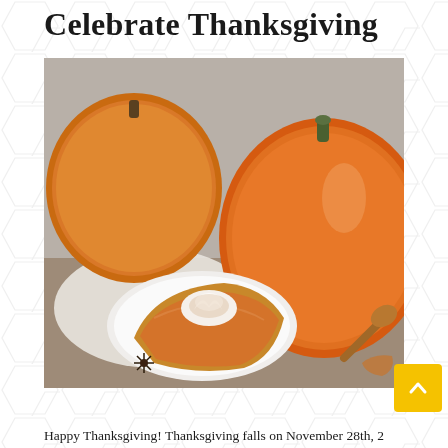Celebrate Thanksgiving
[Figure (photo): A slice of pumpkin pie topped with whipped cream and cinnamon on a white plate, surrounded by large orange pumpkins and a star anise on a rustic wooden surface. Social media buttons (Instagram, Facebook, Yelp) in yellow circles on the right side.]
Happy Thanksgiving! Thanksgiving falls on November 28th, 20...